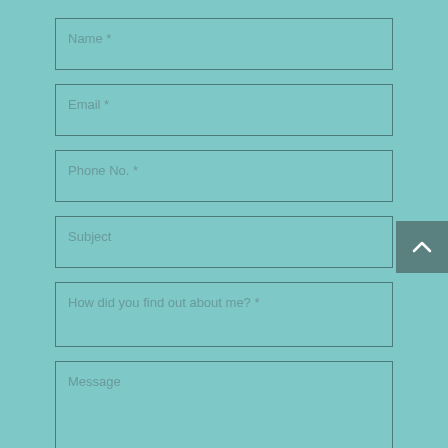Name *
Email *
Phone No. *
Subject
How did you find out about me? *
Message